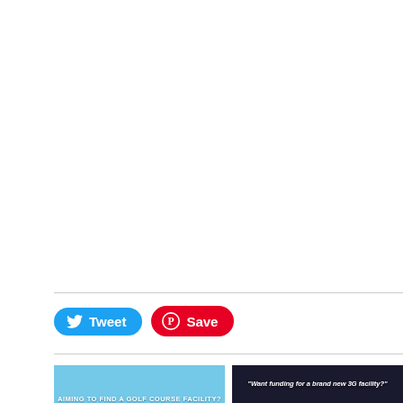[Figure (other): Large white/blank area occupying the top portion of the page]
[Figure (other): Twitter Tweet button (blue rounded rectangle with bird icon) and Pinterest Save button (red rounded rectangle with P icon)]
[Figure (other): Two thumbnail images side by side at the bottom: left is a light blue image with text 'AIMING TO FIND A GOLF COURSE FACILITY?', right is a dark image with text 'Want funding for a brand new 3G facility?']